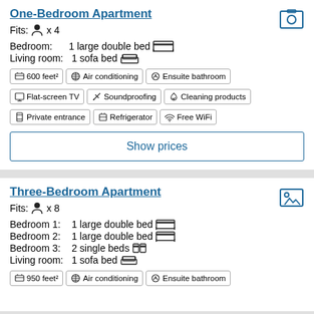One-Bedroom Apartment
Fits: person x 4
Bedroom: 1 large double bed
Living room: 1 sofa bed
600 feet²
Air conditioning
Ensuite bathroom
Flat-screen TV
Soundproofing
Cleaning products
Private entrance
Refrigerator
Free WiFi
Show prices
Three-Bedroom Apartment
Fits: person x 8
Bedroom 1: 1 large double bed
Bedroom 2: 1 large double bed
Bedroom 3: 2 single beds
Living room: 1 sofa bed
950 feet²
Air conditioning
Ensuite bathroom